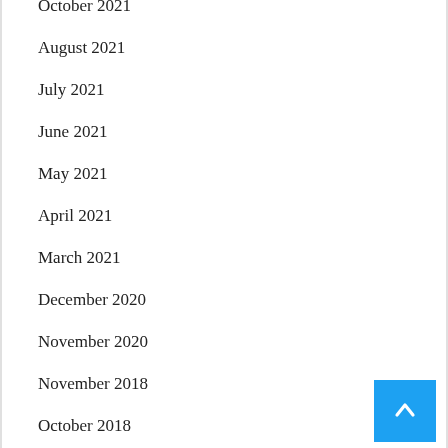October 2021
August 2021
July 2021
June 2021
May 2021
April 2021
March 2021
December 2020
November 2020
November 2018
October 2018
January 2017